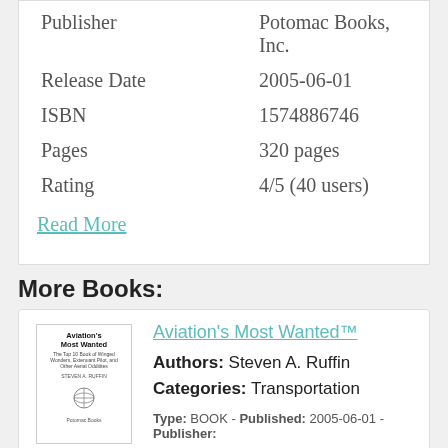| Field | Value |
| --- | --- |
| Publisher | Potomac Books, Inc. |
| Release Date | 2005-06-01 |
| ISBN | 1574886746 |
| Pages | 320 pages |
| Rating | 4/5 (40 users) |
Read More
More Books:
Aviation's Most Wanted™
Authors: Steven A. Ruffin
Categories: Transportation
Language: en
Pages: 320
Type: BOOK - Published: 2005-06-01 - Publisher: